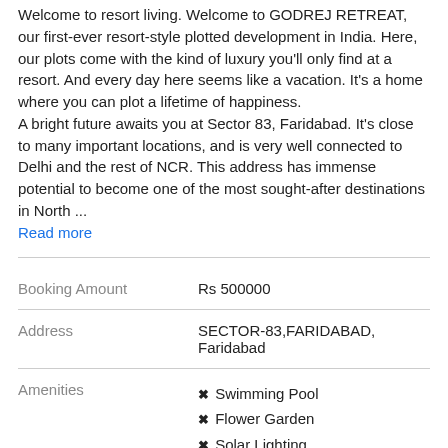Welcome to resort living. Welcome to GODREJ RETREAT, our first-ever resort-style plotted development in India. Here, our plots come with the kind of luxury you'll only find at a resort. And every day here seems like a vacation. It's a home where you can plot a lifetime of happiness.
A bright future awaits you at Sector 83, Faridabad. It's close to many important locations, and is very well connected to Delhi and the rest of NCR. This address has immense potential to become one of the most sought-after destinations in North ...
Read more
| Booking Amount | Rs 500000 |
| Address | SECTOR-83,FARIDABAD,
Faridabad |
| Amenities | ✖ Swimming Pool  ✖ Flower Garden  ✖ Solar Lighting  ✖ Other Facilities  ✖ Piped Gas  ✖ Grocery |